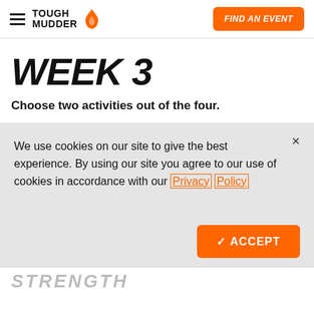TOUGH MUDDER | FIND AN EVENT
WEEK 3
Choose two activities out of the four.
We use cookies on our site to give the best experience. By using our site you agree to our use of cookies in accordance with our Privacy Policy